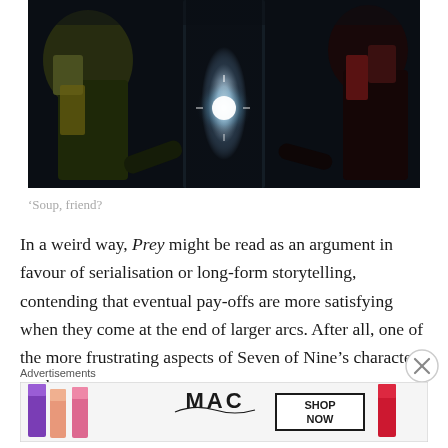[Figure (photo): Dark scene showing two people on either side of a glowing transparent cylinder or container, with bright light emanating from within. One figure on the left in yellow/blue clothing, one on the right in red/dark clothing.]
‘Soup, friend?
In a weird way, Prey might be read as an argument in favour of serialisation or long-form storytelling, contending that eventual pay-offs are more satisfying when they come at the end of larger arcs. After all, one of the more frustrating aspects of Seven of Nine’s character arc has
Advertisements
[Figure (photo): MAC Cosmetics advertisement banner showing lipsticks in purple, pink, and red on left side, MAC logo in center, and SHOP NOW button on right.]